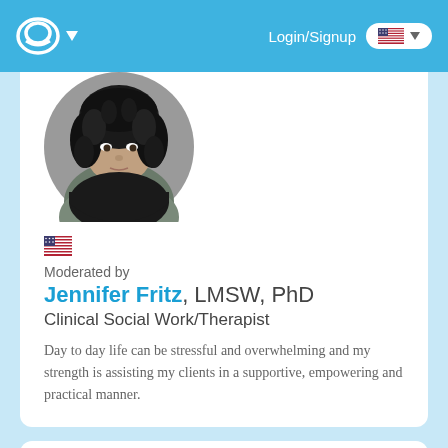Login/Signup
[Figure (photo): Profile photo of Jennifer Fritz, a woman with curly dark hair, shown in circular crop]
Moderated by
Jennifer Fritz, LMSW, PhD
Clinical Social Work/Therapist
Day to day life can be stressful and overwhelming and my strength is assisting my clients in a supportive, empowering and practical manner.
Top Rated Answers
GamerXIana
April 14th, 2018 7:44am